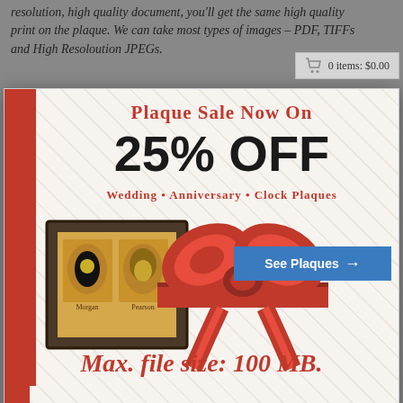resolution, high quality document, you'll get the same high quality print on the plaque. We can take most types of images – PDF, TIFFs and High Resoloution JPEGs.
[Figure (infographic): Shopping cart icon with text '0 items: $0.00']
[Figure (infographic): Promotional modal popup with red accent bars, diagonal pattern background, plaque product image, red ribbon and bow graphic. Contains sale text and two buttons.]
PLAQUE SALE NOW ON
25% OFF
WEDDING • ANNIVERSARY • CLOCK PLAQUES
See Plaques →
CLOSE
Max. file size: 100 MB.